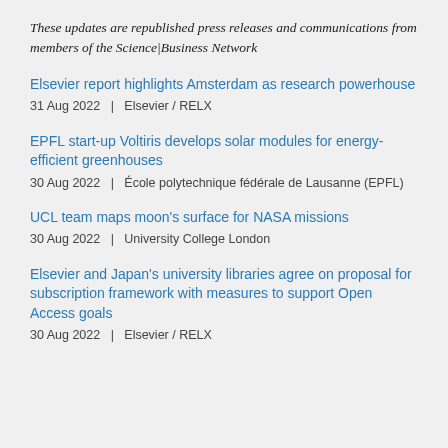These updates are republished press releases and communications from members of the Science|Business Network
Elsevier report highlights Amsterdam as research powerhouse
31 Aug 2022  |  Elsevier / RELX
EPFL start-up Voltiris develops solar modules for energy-efficient greenhouses
30 Aug 2022  |  École polytechnique fédérale de Lausanne (EPFL)
UCL team maps moon's surface for NASA missions
30 Aug 2022  |  University College London
Elsevier and Japan's university libraries agree on proposal for subscription framework with measures to support Open Access goals
30 Aug 2022  |  Elsevier / RELX